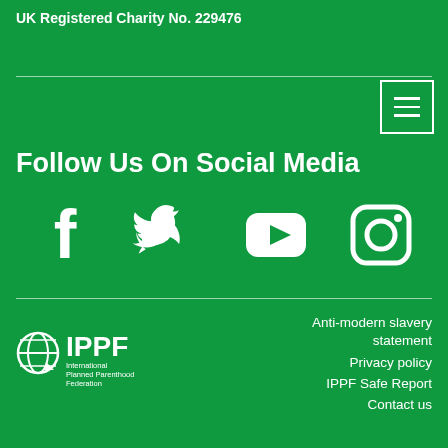UK Registered Charity No. 229476
Follow Us On Social Media
[Figure (illustration): Social media icons: Facebook, Twitter, YouTube, Instagram]
[Figure (logo): IPPF International Planned Parenthood Federation logo]
Anti-modern slavery statement
Privacy policy
IPPF Safe Report
Contact us